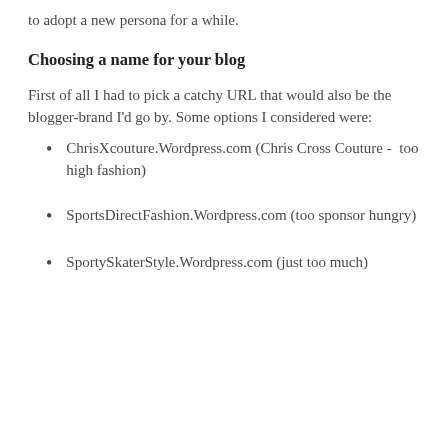to adopt a new persona for a while.
Choosing a name for your blog
First of all I had to pick a catchy URL that would also be the blogger-brand I'd go by. Some options I considered were:
ChrisXcouture.Wordpress.com (Chris Cross Couture -  too high fashion)
SportsDirectFashion.Wordpress.com (too sponsor hungry)
SportySkaterStyle.Wordpress.com (just too much)